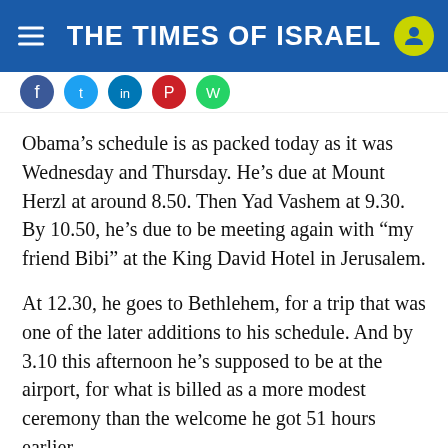THE TIMES OF ISRAEL
Obama’s schedule is as packed today as it was Wednesday and Thursday. He’s due at Mount Herzl at around 8.50. Then Yad Vashem at 9.30. By 10.50, he’s due to be meeting again with “my friend Bibi” at the King David Hotel in Jerusalem.
At 12.30, he goes to Bethlehem, for a trip that was one of the later additions to his schedule. And by 3.10 this afternoon he’s supposed to be at the airport, for what is billed as a more modest ceremony than the welcome he got 51 hours earlier.
At least last night was a relatively relaxing evening, at the state dinner Shimon Peres held in his honor.